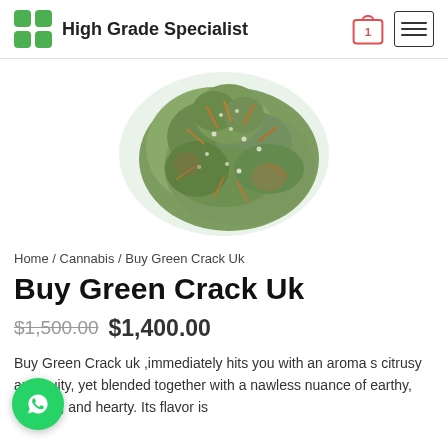High Grade Specialist
[Figure (photo): Close-up photo of a cannabis bud (Green Crack strain) with orange hairs and dense green/brown texture on a white background]
Home / Cannabis / Buy Green Crack Uk
Buy Green Crack Uk
$1,500.00  $1,400.00
Buy Green Crack uk ,immediately hits you with an aroma s citrusy and fruity, yet blended together with a nawless nuance of earthy, woodsy, and hearty. Its flavor is